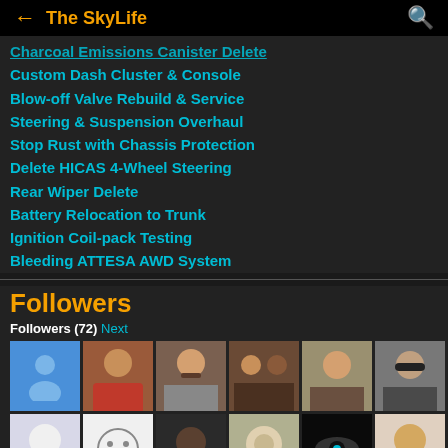← The SkyLife
Charcoal Emissions Canister Delete
Custom Dash Cluster & Console
Blow-off Valve Rebuild & Service
Steering & Suspension Overhaul
Stop Rust with Chassis Protection
Delete HICAS 4-Wheel Steering
Rear Wiper Delete
Battery Relocation to Trunk
Ignition Coil-pack Testing
Bleeding ATTESA AWD System
Followers
Followers (72) Next
[Figure (photo): Grid of 21 follower profile avatars in rows of 10, showing various user profile pictures including people, cartoon characters, and icons]